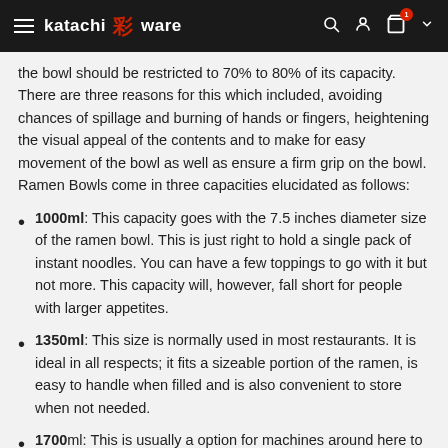katachi 彩 ware
the bowl should be restricted to 70% to 80% of its capacity. There are three reasons for this which included, avoiding chances of spillage and burning of hands or fingers, heightening the visual appeal of the contents and to make for easy movement of the bowl as well as ensure a firm grip on the bowl. Ramen Bowls come in three capacities elucidated as follows:
1000ml: This capacity goes with the 7.5 inches diameter size of the ramen bowl. This is just right to hold a single pack of instant noodles. You can have a few toppings to go with it but not more. This capacity will, however, fall short for people with larger appetites.
1350ml: This size is normally used in most restaurants. It is ideal in all respects; it fits a sizeable portion of the ramen, is easy to handle when filled and is also convenient to store when not needed.
1700ml: This is usually a option for...